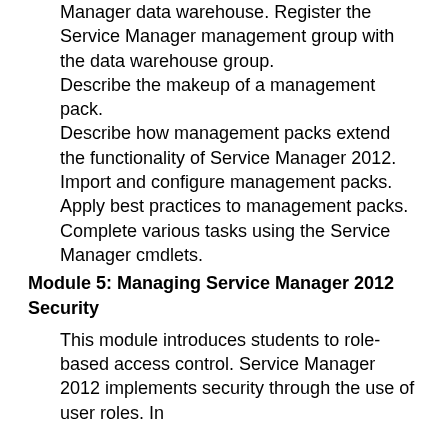Manager data warehouse. Register the Service Manager management group with the data warehouse group.
Describe the makeup of a management pack.
Describe how management packs extend the functionality of Service Manager 2012.
Import and configure management packs.
Apply best practices to management packs.
Complete various tasks using the Service Manager cmdlets.
Module 5: Managing Service Manager 2012 Security
This module introduces students to role-based access control. Service Manager 2012 implements security through the use of user roles. In